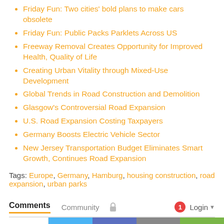Friday Fun: Two cities' bold plans to make cars obsolete
Friday Fun: Public Packs Parklets Across US
Freeway Removal Creates Opportunity for Improved Health, Quality of Life
Creating Urban Vitality through Mixed-Use Development
Global Trends in Road Construction and Demolition
Glasgow's Controversial Road Expansion
U.S. Road Expansion Costing Taxpayers
Germany Boosts Electric Vehicle Sector
New Jersey Transportation Budget Eliminates Smart Growth, Continues Road Expansion
Tags: Europe, Germany, Hamburg, housing construction, road expansion, urban parks
Comments  Community  Login
489 Shares